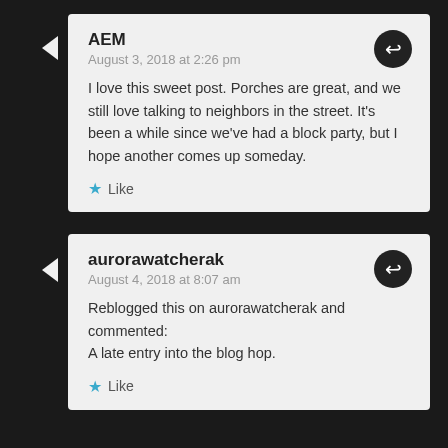AEM
August 3, 2018 at 2:26 pm
I love this sweet post. Porches are great, and we still love talking to neighbors in the street. It's been a while since we've had a block party, but I hope another comes up someday.
Like
aurorawatcherak
August 4, 2018 at 8:07 am
Reblogged this on aurorawatcherak and commented:
A late entry into the blog hop.
Like